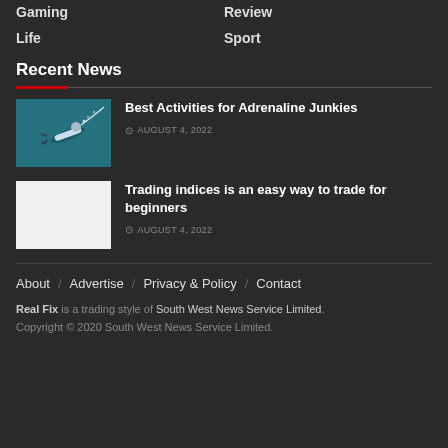Gaming   Review
Life   Sport
Recent News
Best Activities for Adrenaline Junkies
AUGUST 4, 2022
Trading indices is an easy way to trade for beginners
AUGUST 4, 2022
About / Advertise / Privacy & Policy / Contact
Real Fix is a trading style of South West News Service Limited.
Copyright © 2020 South West News Service Limited.